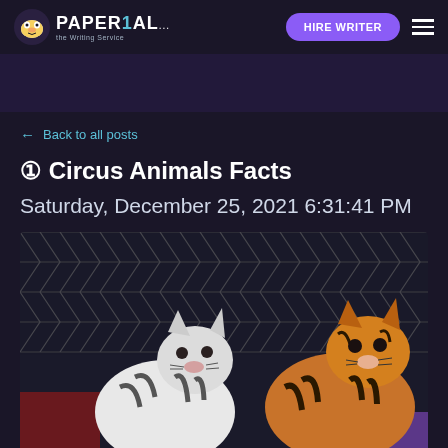PAPERIAL... | HIRE WRITER
← Back to all posts
① Circus Animals Facts
Saturday, December 25, 2021 6:31:41 PM
[Figure (photo): Two tigers standing in front of a metal chain-link fence enclosure. On the left is a white tiger with black stripes, and on the right is an orange Bengal tiger with black stripes. The background shows a dark arena setting with a hint of red curtain.]